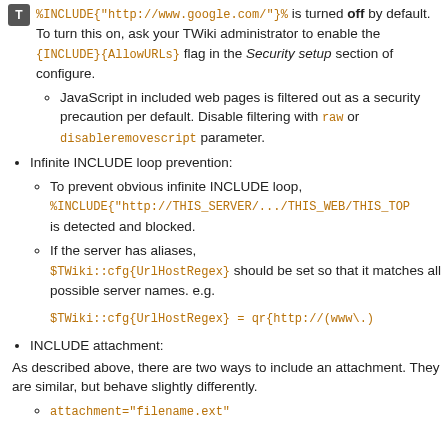%INCLUDE{"http://www.google.com/"}% is turned off by default. To turn this on, ask your TWiki administrator to enable the {INCLUDE}{AllowURLs} flag in the Security setup section of configure.
JavaScript in included web pages is filtered out as a security precaution per default. Disable filtering with raw or disableremovescript parameter.
Infinite INCLUDE loop prevention:
To prevent obvious infinite INCLUDE loop, %INCLUDE{"http://THIS_SERVER/.../THIS_WEB/THIS_TOP is detected and blocked.
If the server has aliases, $TWiki::cfg{UrlHostRegex} should be set so that it matches all possible server names. e.g.
$TWiki::cfg{UrlHostRegex} = qr{http://(www\.)
INCLUDE attachment:
As described above, there are two ways to include an attachment. They are similar, but behave slightly differently.
attachment="filename.ext"